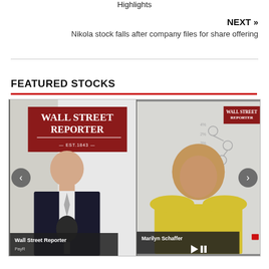Highlights
NEXT » Nikola stock falls after company files for share offering
FEATURED STOCKS
[Figure (screenshot): Wall Street Reporter video screenshot showing two panels: left panel with a male host in front of a Wall Street Reporter (Est. 1843) banner, right panel showing Marilyn Schaffer. Navigation arrows and play/pause controls visible.]